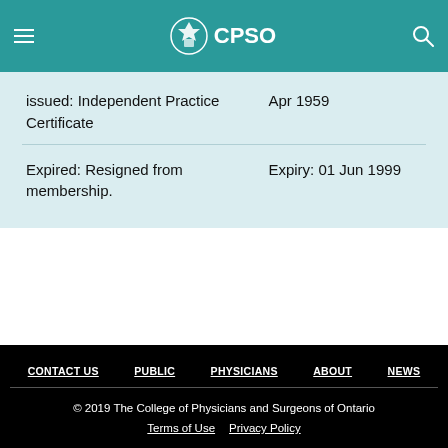CPSO
| Status | Date |
| --- | --- |
| issued: Independent Practice Certificate | Apr 1959 |
| Expired: Resigned from membership. | Expiry: 01 Jun 1999 |
CONTACT US  PUBLIC  PHYSICIANS  ABOUT  NEWS
© 2019 The College of Physicians and Surgeons of Ontario
Terms of Use  Privacy Policy